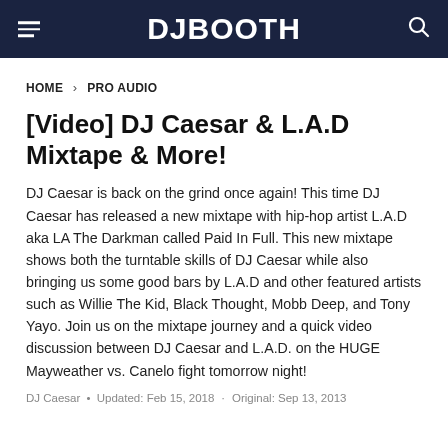DJBOOTH
HOME › PRO AUDIO
[Video] DJ Caesar & L.A.D Mixtape & More!
DJ Caesar is back on the grind once again! This time DJ Caesar has released a new mixtape with hip-hop artist L.A.D aka LA The Darkman called Paid In Full. This new mixtape shows both the turntable skills of DJ Caesar while also bringing us some good bars by L.A.D and other featured artists such as Willie The Kid, Black Thought, Mobb Deep, and Tony Yayo. Join us on the mixtape journey and a quick video discussion between DJ Caesar and L.A.D. on the HUGE Mayweather vs. Canelo fight tomorrow night!
DJ Caesar • Updated: Feb 15, 2018 · Original: Sep 13, 2013